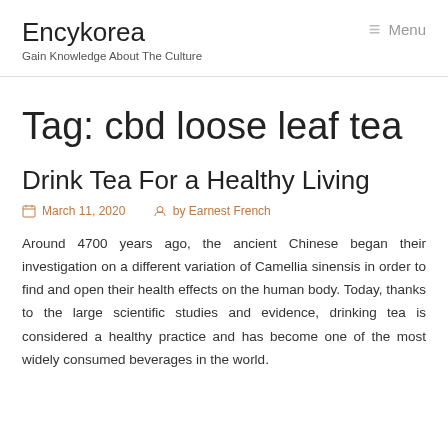Encykorea
Gain Knowledge About The Culture
Tag: cbd loose leaf tea
Drink Tea For a Healthy Living
March 11, 2020  by Earnest French
Around 4700 years ago, the ancient Chinese began their investigation on a different variation of Camellia sinensis in order to find and open their health effects on the human body. Today, thanks to the large scientific studies and evidence, drinking tea is considered a healthy practice and has become one of the most widely consumed beverages in the world.